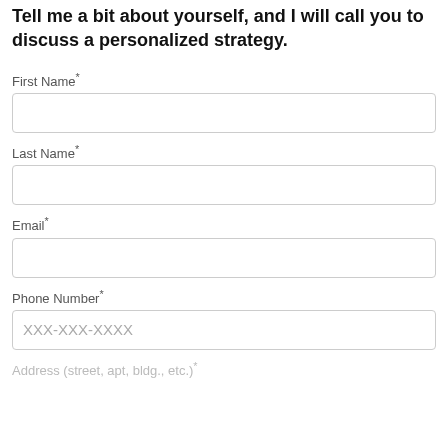Tell me a bit about yourself, and I will call you to discuss a personalized strategy.
First Name*
Last Name*
Email*
Phone Number*
Address (street, apt, bldg., etc.)*